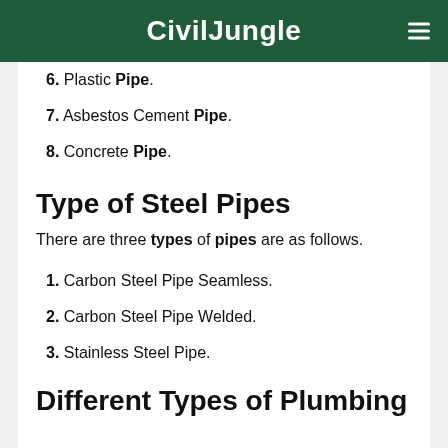CivilJungle
6. Plastic Pipe.
7. Asbestos Cement Pipe.
8. Concrete Pipe.
Type of Steel Pipes
There are three types of pipes are as follows.
1. Carbon Steel Pipe Seamless.
2. Carbon Steel Pipe Welded.
3. Stainless Steel Pipe.
Different Types of Plumbing